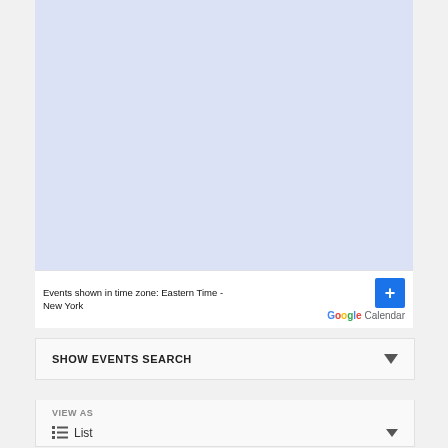[Figure (screenshot): Google Calendar embedded widget area showing a light blue/lavender calendar view]
Events shown in time zone: Eastern Time - New York
[Figure (logo): Google Calendar logo with blue plus button]
SHOW EVENTS SEARCH
VIEW AS
List